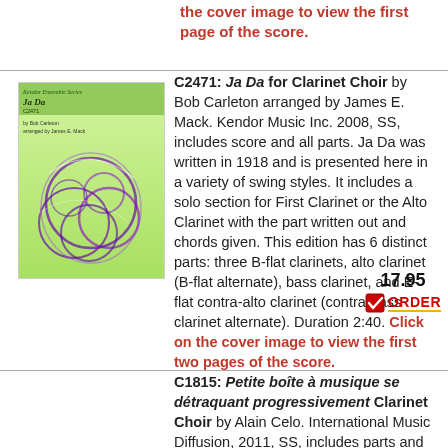the cover image to view the first page of the score.
[Figure (illustration): Cover image of Ja Da sheet music for Clarinet Choir, Kendor Ensemble Series, showing abstract swirling circles on a green gradient background.]
C2471: Ja Da for Clarinet Choir by Bob Carleton arranged by James E. Mack. Kendor Music Inc. 2008, SS, includes score and all parts. Ja Da was written in 1918 and is presented here in a variety of swing styles. It includes a solo section for First Clarinet or the Alto Clarinet with the part written out and chords given. This edition has 6 distinct parts: three B-flat clarinets, alto clarinet (B-flat alternate), bass clarinet, and E-flat contra-alto clarinet (contra-bass clarinet alternate). Duration 2:40. Click on the cover image to view the first two pages of the score.
17.95 ORDER
C1815: Petite boîte à musique se détraquant progressivement Clarinet Choir by Alain Celo. International Music Diffusion, 2011, SS, includes parts and score